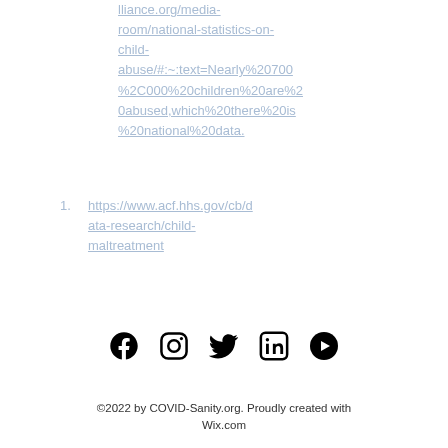lliance.org/media-room/national-statistics-on-child-abuse/#:~:text=Nearly%20700%2C000%20children%20are%20abused,which%20there%20is%20national%20data.
1. https://www.acf.hhs.gov/cb/data-research/child-maltreatment
[Figure (other): Social media icons: Facebook, Instagram, Twitter, LinkedIn, YouTube]
©2022 by COVID-Sanity.org. Proudly created with Wix.com